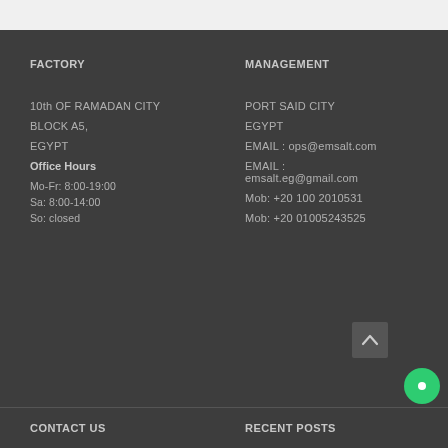FACTORY
10th OF RAMADAN CITY
BLOCK A5,
EGYPT
Office Hours
Mo-Fr: 8:00-19:00
Sa: 8:00-14:00
So: closed
MANAGEMENT
PORT SAID CITY
EGYPT
EMAIL : ops@emsalt.com
EMAIL : emsalt.eg@gmail.com
Mob: +20 100 2010531
Mob: +20 01005243525
CONTACT US
RECENT POSTS